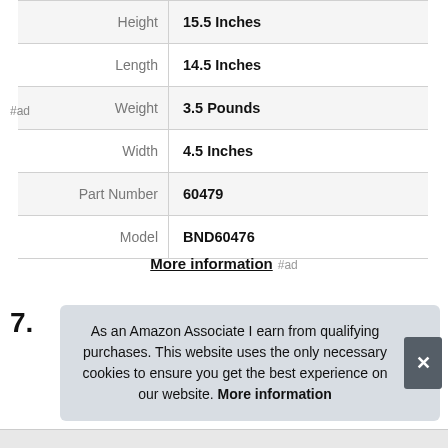| Attribute | Value |
| --- | --- |
| Height | 15.5 Inches |
| Length | 14.5 Inches |
| Weight | 3.5 Pounds |
| Width | 4.5 Inches |
| Part Number | 60479 |
| Model | BND60476 |
More information #ad
7.
As an Amazon Associate I earn from qualifying purchases. This website uses the only necessary cookies to ensure you get the best experience on our website. More information
#ad